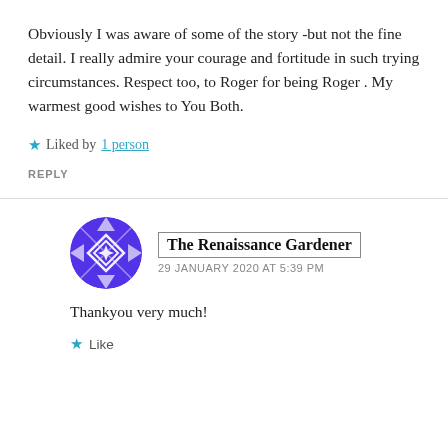Obviously I was aware of some of the story -but not the fine detail. I really admire your courage and fortitude in such trying circumstances. Respect too, to Roger for being Roger . My warmest good wishes to You Both.
Liked by 1 person
REPLY
The Renaissance Gardener
29 JANUARY 2020 AT 5:39 PM
Thankyou very much!
Like